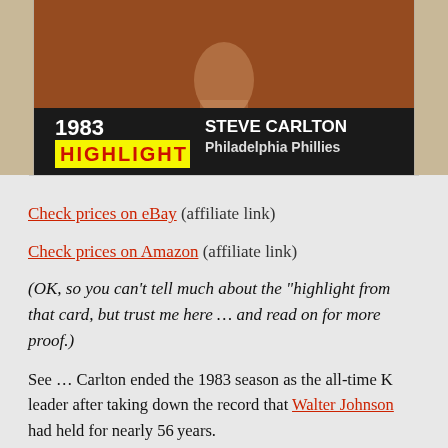[Figure (photo): Baseball card image showing 1983 Highlight card for Steve Carlton of the Philadelphia Phillies. The card has a dark top section with a photo of a baseball player, and below it shows '1983' in white text on dark background, 'HIGHLIGHT' in red text on yellow background, and 'STEVE CARLTON Philadelphia Phillies' in bold black text.]
Check prices on eBay (affiliate link)
Check prices on Amazon (affiliate link)
(OK, so you can’t tell much about the “highlight from that card, but trust me here … and read on for more proof.)
See … Carlton ended the 1983 season as the all-time K leader after taking down the record that Walter Johnson had held for nearly 56 years.
And that wasn’t the only big thing about 1983 for